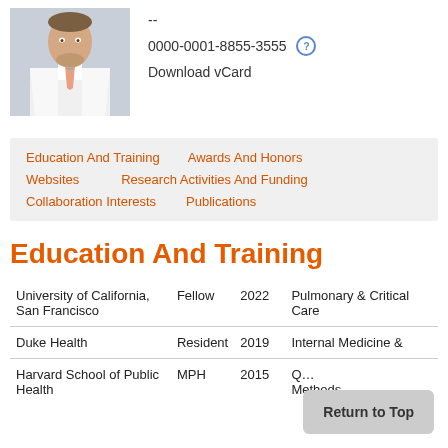[Figure (photo): Headshot photo of a male physician in white coat with pink/grey tie]
--
0000-0001-8855-3555 ?
Download vCard
Education And Training   Awards And Honors   Websites   Research Activities And Funding   Collaboration Interests   Publications
Education And Training
| Institution | Role | Year | Specialty |
| --- | --- | --- | --- |
| University of California, San Francisco | Fellow | 2022 | Pulmonary & Critical Care |
| Duke Health | Resident | 2019 | Internal Medicine &… |
| Harvard School of Public Health | MPH | 2015 | Q… Methods |
Return to Top